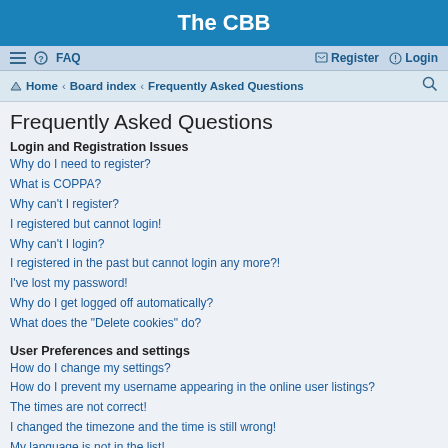The CBB
≡ FAQ  Register Login
Home · Board index · Frequently Asked Questions
Frequently Asked Questions
Login and Registration Issues
Why do I need to register?
What is COPPA?
Why can't I register?
I registered but cannot login!
Why can't I login?
I registered in the past but cannot login any more?!
I've lost my password!
Why do I get logged off automatically?
What does the "Delete cookies" do?
User Preferences and settings
How do I change my settings?
How do I prevent my username appearing in the online user listings?
The times are not correct!
I changed the timezone and the time is still wrong!
My language is not in the list!
What are the images next to my username?